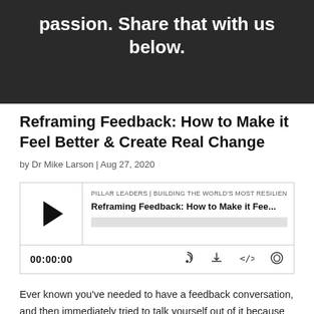passion. Share that with us below.
Reframing Feedback: How to Make it Feel Better & Create Real Change
by Dr Mike Larson | Aug 27, 2020
[Figure (other): Podcast audio player widget showing episode 'Reframing Feedback: How to Make it Fee...' from PILLAR LEADERS | BUILDING THE WORLD'S MOST RESILIENT... with play button, progress bar, timestamp 00:00:00, and icons for RSS, download, embed, and share.]
Ever known you've needed to have a feedback conversation, and then immediately tried to talk yourself out of it because of how uncomfortable you feared it would be? That reaction is pretty normal! At the same time, the only way people can know that they need to improve, or to continue